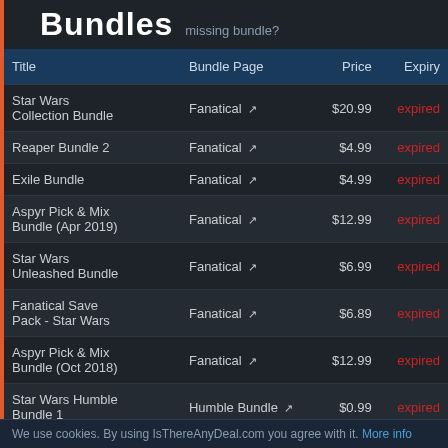Bundles missing bundle?
| Title | Bundle Page | Price | Expiry |
| --- | --- | --- | --- |
| Star Wars Collection Bundle | Fanatical | $20.99 | expired |
| Reaper Bundle 2 | Fanatical | $4.99 | expired |
| Exile Bundle | Fanatical | $4.99 | expired |
| Aspyr Pick & Mix Bundle (Apr 2019) | Fanatical | $12.99 | expired |
| Star Wars Unleashed Bundle | Fanatical | $6.99 | expired |
| Fanatical Save Pack - Star Wars | Fanatical | $6.89 | expired |
| Aspyr Pick & Mix Bundle (Oct 2018) | Fanatical | $12.99 | expired |
| Star Wars Humble Bundle 1 | Humble Bundle | $0.99 | expired |
We use cookies. By using IsThereAnyDeal.com you agree with it. More info